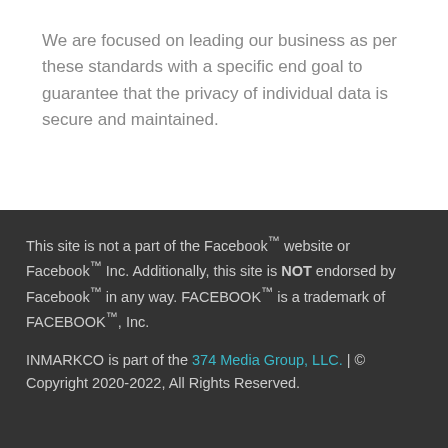We are focused on leading our business as per these standards with a specific end goal to guarantee that the privacy of individual data is secure and maintained.
This site is not a part of the Facebook™ website or Facebook™ Inc. Additionally, this site is NOT endorsed by Facebook™ in any way. FACEBOOK™ is a trademark of FACEBOOK™, Inc.

INMARKCO is part of the 374 Media Group, LLC. | © Copyright 2020-2022, All Rights Reserved.